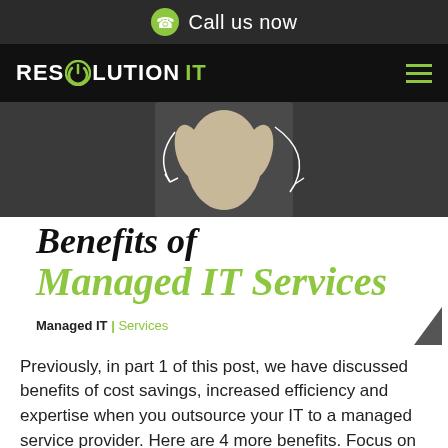Call us now
[Figure (logo): Resolution IT logo with power icon and hamburger menu on black nav bar]
[Figure (photo): Cropped photo of a person in beige outfit with white arrows on dark background]
Benefits of Managed IT Services
Managed IT | Services
Previously, in part 1 of this post, we have discussed benefits of cost savings, increased efficiency and expertise when you outsource your IT to a managed service provider. Here are 4 more benefits. Focus on